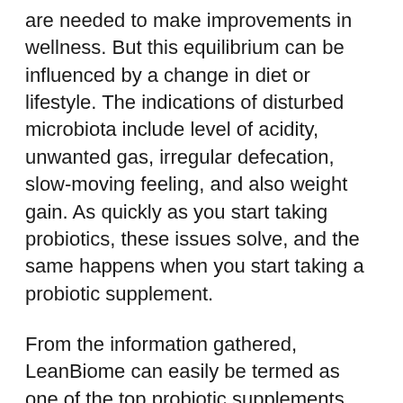are needed to make improvements in wellness. But this equilibrium can be influenced by a change in diet or lifestyle. The indications of disturbed microbiota include level of acidity, unwanted gas, irregular defecation, slow-moving feeling, and also weight gain. As quickly as you start taking probiotics, these issues solve, and the same happens when you start taking a probiotic supplement.
From the information gathered, LeanBiome can easily be termed as one of the top probiotic supplements nowadays, and also there are a lot of factors to trust this product. According to the official web site, it regulates brain and also body sychronisation and manages the emotional and also physical sides of weight problems at the